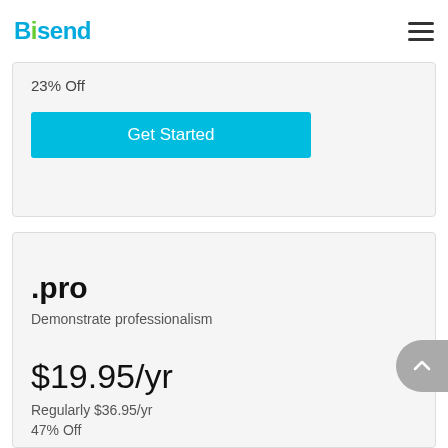Bisend
23% Off
Get Started
.pro
Demonstrate professionalism
$19.95/yr
Regularly $36.95/yr
47% Off